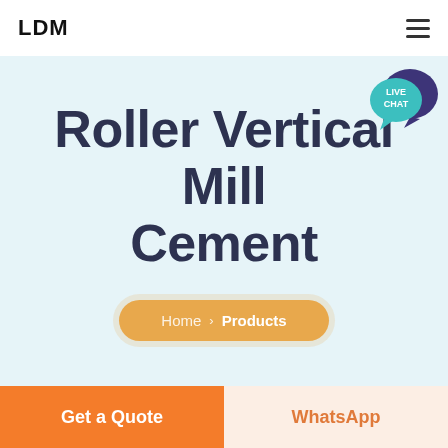LDM
Roller Vertical Mill Cement
Home > Products
[Figure (other): Live Chat bubble icon in teal/blue colors with speech bubble graphic]
Get a Quote
WhatsApp